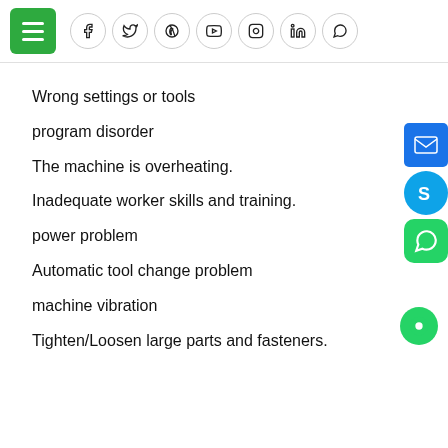Menu | Social icons: Facebook, Twitter, Pinterest, YouTube, Instagram, LinkedIn, WhatsApp
Wrong settings or tools
program disorder
The machine is overheating.
Inadequate worker skills and training.
power problem
Automatic tool change problem
machine vibration
Tighten/Loosen large parts and fasteners.